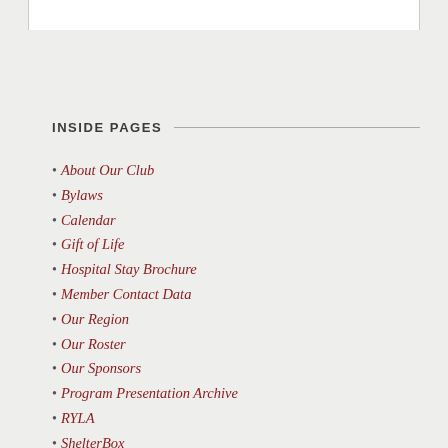INSIDE PAGES
About Our Club
Bylaws
Calendar
Gift of Life
Hospital Stay Brochure
Member Contact Data
Our Region
Our Roster
Our Sponsors
Program Presentation Archive
RYLA
ShelterBox
Tech Data for Our Speakers
Want to Join Us?
Youth Exchange